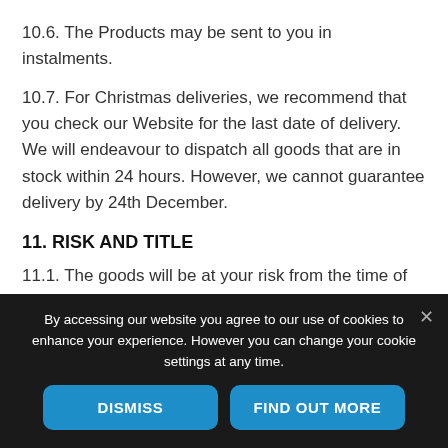10.6. The Products may be sent to you in instalments.
10.7. For Christmas deliveries, we recommend that you check our Website for the last date of delivery. We will endeavour to dispatch all goods that are in stock within 24 hours. However, we cannot guarantee delivery by 24th December.
11. RISK AND TITLE
11.1. The goods will be at your risk from the time of delivery.
By accessing our website you agree to our use of cookies to enhance your experience. However you can change your cookie settings at any time.